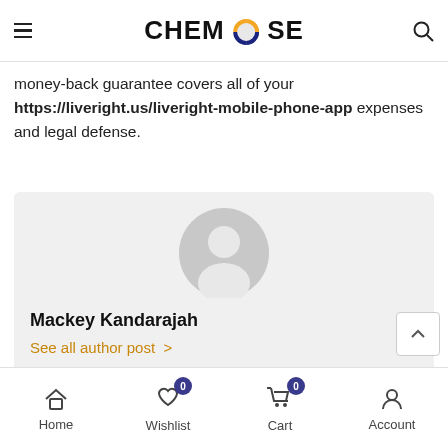CHEMROSE
money-back guarantee covers all of your https://liveright.us/liveright-mobile-phone-app expenses and legal defense.
[Figure (illustration): Author card with grey default avatar (circle with person silhouette), author name Mackey Kandarajah, and a link 'See all author post >']
Mackey Kandarajah
See all author post >
Home | Wishlist 0 | Cart 0 | Account